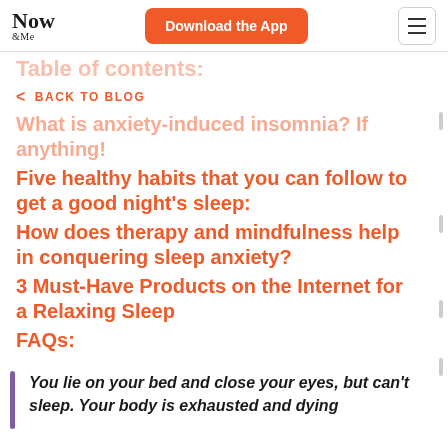Now & Me | Download the App
Table of contents:
< BACK TO BLOG
What is anxiety-induced insomnia? If anything!
Five healthy habits that you can follow to get a good night's sleep:
How does therapy and mindfulness help in conquering sleep anxiety?
3 Must-Have Products on the Internet for a Relaxing Sleep
FAQs:
You lie on your bed and close your eyes, but can't sleep. Your body is exhausted and dying